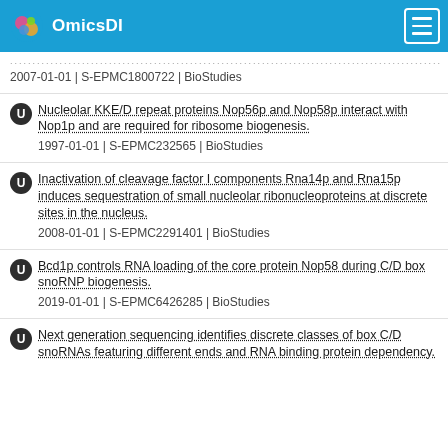OmicsDI
2007-01-01 | S-EPMC1800722 | BioStudies
Nucleolar KKE/D repeat proteins Nop56p and Nop58p interact with Nop1p and are required for ribosome biogenesis.
1997-01-01 | S-EPMC232565 | BioStudies
Inactivation of cleavage factor I components Rna14p and Rna15p induces sequestration of small nucleolar ribonucleoproteins at discrete sites in the nucleus.
2008-01-01 | S-EPMC2291401 | BioStudies
Bcd1p controls RNA loading of the core protein Nop58 during C/D box snoRNP biogenesis.
2019-01-01 | S-EPMC6426285 | BioStudies
Next generation sequencing identifies discrete classes of box C/D snoRNAs featuring different ends and RNA binding protein dependency.